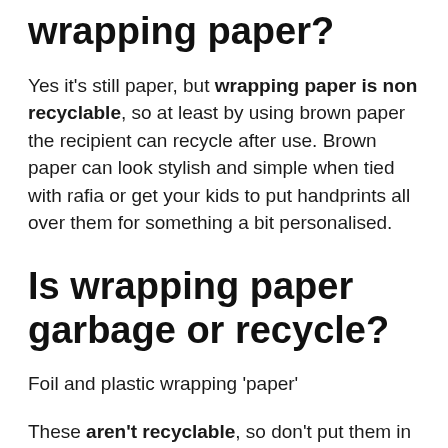wrapping paper?
Yes it's still paper, but wrapping paper is non recyclable, so at least by using brown paper the recipient can recycle after use. Brown paper can look stylish and simple when tied with rafia or get your kids to put handprints all over them for something a bit personalised.
Is wrapping paper garbage or recycle?
Foil and plastic wrapping ‘paper’
These aren’t recyclable, so don’t put them in the paper recycling collection because